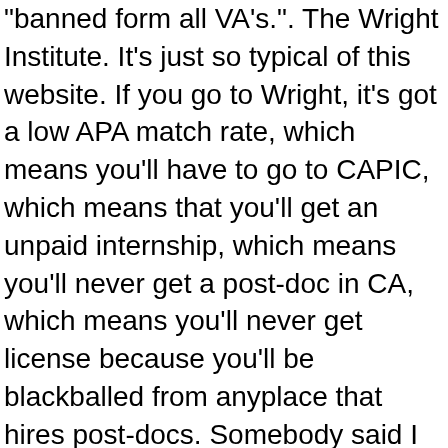"banned form all VA's.". The Wright Institute. It's just so typical of this website. If you go to Wright, it's got a low APA match rate, which means you'll have to go to CAPIC, which means that you'll get an unpaid internship, which means you'll never get a post-doc in CA, which means you'll never get license because you'll be blackballed from anyplace that hires post-docs. Somebody said I should get real, get a grip. Your message may be considered spam for the following reasons: JavaScript is disabled. If it was in the Political Forum people would only care if the janitorial job was a union job or not. Property: Info Pending ... View Reputation ... It may be what happens, but that doesn't make it right. My bet is few if any. If you say it is a good program, people accuse you of sugar coating it. It's an issue people are very adamant about because it's a key factor in the current state of our profession, one that could definitely use a facelift. You're supposed to be psychologists-in-training. That's all I'm saying. "These traumatic events in childhood are the memories that are most